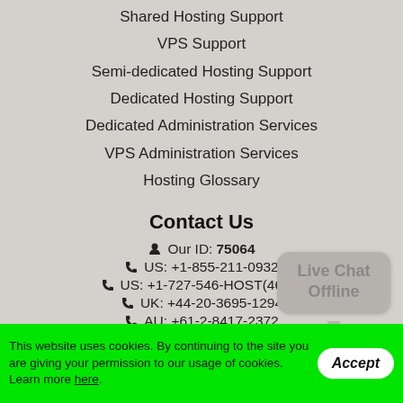Shared Hosting Support
VPS Support
Semi-dedicated Hosting Support
Dedicated Hosting Support
Dedicated Administration Services
VPS Administration Services
Hosting Glossary
Contact Us
Our ID: 75064
US: +1-855-211-0932
US: +1-727-546-HOST(4678)
UK: +44-20-3695-1294
AU: +61-2-8417-2372
[Figure (other): Live Chat Offline speech bubble widget]
This website uses cookies. By continuing to the site you are giving your permission to our usage of cookies. Learn more here.